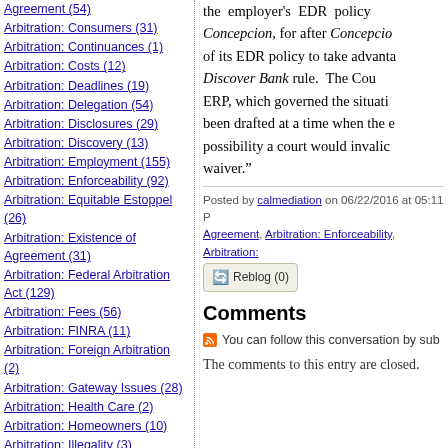Agreement (54)
Arbitration: Consumers (31)
Arbitration: Continuances (1)
Arbitration: Costs (12)
Arbitration: Deadlines (19)
Arbitration: Delegation (54)
Arbitration: Disclosures (29)
Arbitration: Discovery (13)
Arbitration: Employment (155)
Arbitration: Enforceability (92)
Arbitration: Equitable Estoppel (26)
Arbitration: Existence of Agreement (31)
Arbitration: Federal Arbitration Act (129)
Arbitration: Fees (56)
Arbitration: FINRA (11)
Arbitration: Foreign Arbitration (2)
Arbitration: Gateway Issues (28)
Arbitration: Health Care (2)
Arbitration: Homeowners (10)
Arbitration: Illegality (3)
Arbitration: Incorporation by reference (2)
Arbitration: International (12)
Arbitration: Internet Commerce
the employer's EDR policy ... Concepcion, for after Concepcion of its EDR policy to take advantage Discover Bank rule. The Cour ERP, which governed the situati been drafted at a time when the e possibility a court would invalid waiver.”
Posted by calmediation on 06/22/2016 at 05:11 P Agreement, Arbitration: Enforceability, Arbitration:
Reblog (0)
Comments
You can follow this conversation by sub
The comments to this entry are closed.